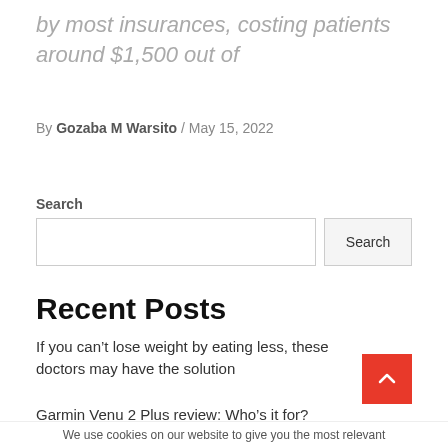by most insurances, costing patients around $1,500 out of
By Gozaba M Warsito / May 15, 2022
Search
Recent Posts
If you can’t lose weight by eating less, these doctors may have the solution
Garmin Venu 2 Plus review: Who’s it for?
We use cookies on our website to give you the most relevant